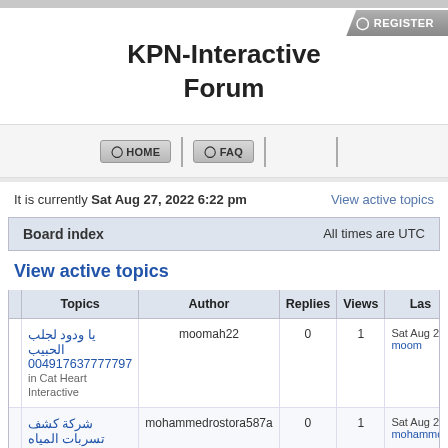KPN-Interactive Forum
KPN-Interactive Forum
It is currently Sat Aug 27, 2022 6:22 pm
View active topics
|  | Board index | All times are UTC |
| --- | --- | --- |
View active topics
|  | Topics | Author | Replies | Views | Las |
| --- | --- | --- | --- | --- | --- |
|  | يا ودود لجلب الحبيب 004917637777797
in Cat Heart Interactive | moomah22 | 0 | 1 | Sat Aug 2
moom |
|  | شركة كشف تسربات المياه بالرياض
in Cat Heart Interactive | mohammedrostora587a | 0 | 1 | Sat Aug 2
mohammed |